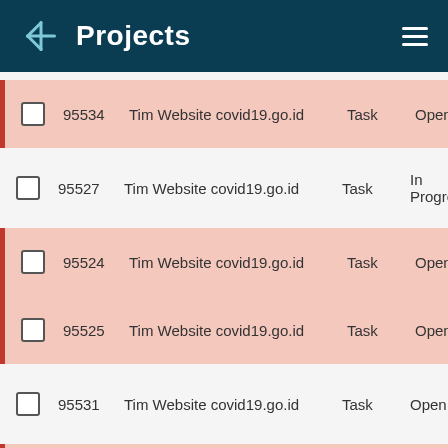Projects
95534  Tim Website covid19.go.id  Task  Open
95527  Tim Website covid19.go.id  Task  In Progress
95524  Tim Website covid19.go.id  Task  Open
95525  Tim Website covid19.go.id  Task  Open
95531  Tim Website covid19.go.id  Task  Open
95541  Tim Website covid19.go.id  Task  Open